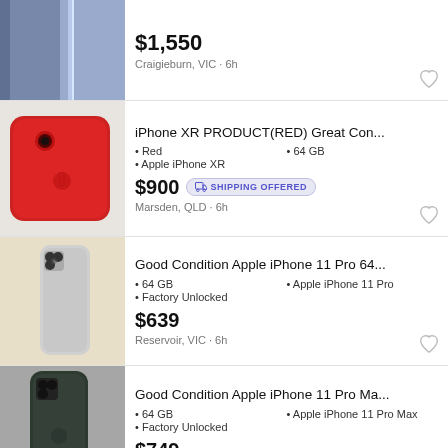[Figure (photo): Photo of iPhone (blue/dark, partially visible) on white background]
$1,550
Craigieburn, VIC · 6h
[Figure (photo): Photo of red iPhone XR lying flat on white fabric]
iPhone XR PRODUCT(RED) Great Con...
• Red • 64 GB
• Apple iPhone XR
$900 SHIPPING OFFERED
Marsden, QLD · 6h
[Figure (photo): Photo of silver/white Apple iPhone 11 Pro standing upright on cream fabric]
Good Condition Apple iPhone 11 Pro 64...
• 64 GB • Apple iPhone 11 Pro
• Factory Unlocked
$639
Reservoir, VIC · 6h
[Figure (photo): Photo of dark green/gray Apple iPhone 11 Pro Max standing on gray surface]
Good Condition Apple iPhone 11 Pro Ma...
• 64 GB • Apple iPhone 11 Pro Max
• Factory Unlocked
$749
Reservoir, VIC · 6h
[Figure (photo): Partial photo of another iPhone listing (cropped at bottom)]